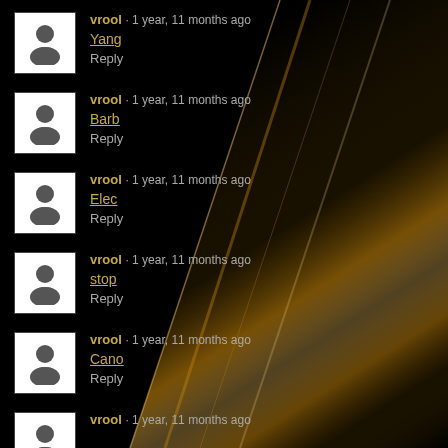vrool · 1 year, 11 months ago
Yang
Reply
vrool · 1 year, 11 months ago
Barb
Reply
vrool · 1 year, 11 months ago
Elec
Reply
vrool · 1 year, 11 months ago
stop
Reply
vrool · 1 year, 11 months ago
Cano
Reply
vrool · 1 year, 11 months ago